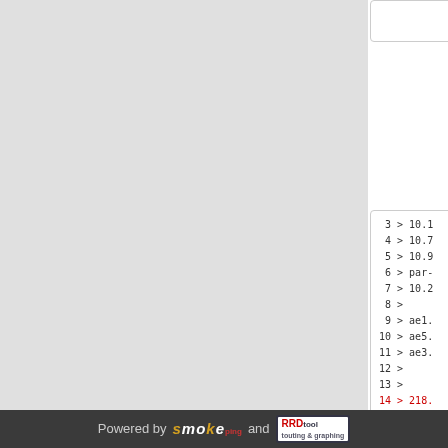[Figure (screenshot): Left gray panel, likely a network graph or chart area cropped out of view]
Code box top (partially visible)
3 > 10.1
4 > 10.7
5 > 10.9
6 > par-
7 > 10.2
8 >
9 > ae1.
10 > ae5.
11 > ae3.
12 >
13 >
14 > 218.
15 > stat
3 > 10.1
4 > 10.7
5 > 10.9
Powered by smokeping and RRDtool